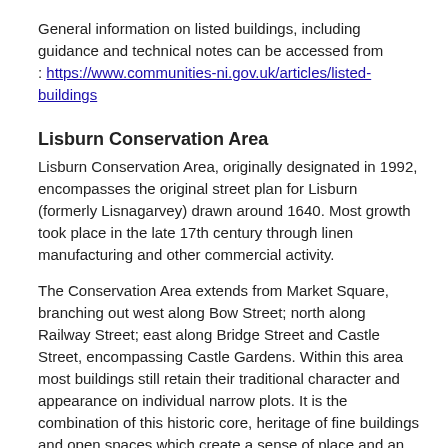General information on listed buildings, including guidance and technical notes can be accessed from
: https://www.communities-ni.gov.uk/articles/listed-buildings
Lisburn Conservation Area
Lisburn Conservation Area, originally designated in 1992, encompasses the original street plan for Lisburn (formerly Lisnagarvey) drawn around 1640. Most growth took place in the late 17th century through linen manufacturing and other commercial activity.
The Conservation Area extends from Market Square, branching out west along Bow Street; north along Railway Street; east along Bridge Street and Castle Street, encompassing Castle Gardens. Within this area most buildings still retain their traditional character and appearance on individual narrow plots. It is the combination of this historic core, heritage of fine buildings and open spaces which create a sense of place and an area worthy of protection.
The benefits of good design and physical enhancement of the street scene, has been demonstrated in Lisburn Conservation